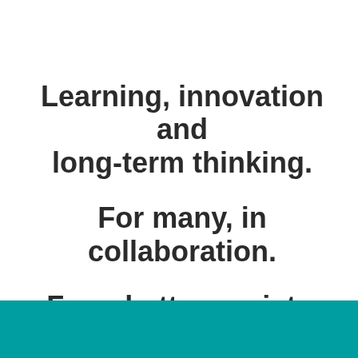Learning, innovation and long-term thinking. For many, in collaboration. For a better society.
[Figure (other): Teal/turquoise colored rectangular bar at the bottom of the page]